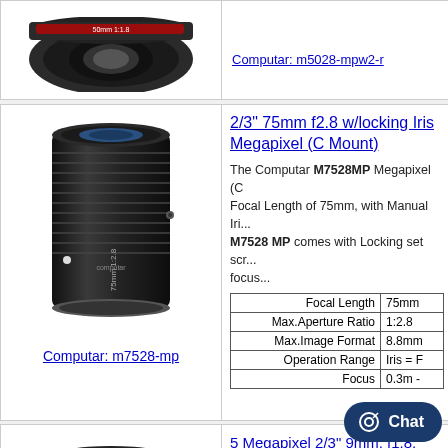[Figure (photo): Top of a Computar camera lens, black cylindrical lens viewed from above/front, partial view]
Computar: m5028-mpw2-r
[Figure (photo): Computar M7528MP lens, black cylindrical camera lens, tall, viewed from slight angle showing ribbed barrel]
Computar: m7528-mp
2/3" 75mm f2.8 w/locking Iris Megapixel (C Mount)
The Computar M7528MP Megapixel (C... Focal Length of 75mm, with Manual Iri... M7528 MP comes with Locking set scr... focus...
|  |  |
| --- | --- |
| Focal Length | 75mm |
| Max.Aperture Ratio | 1:2.8 |
| Max.Image Format | 8.8mm |
| Operation Range | Iris = F |
| Focus | 0.3m - |
[Figure (photo): Third camera lens product, black, compact, viewed from slight angle, partial view at bottom of page]
5 Megapixel 2/3" 9mm, f1.8,